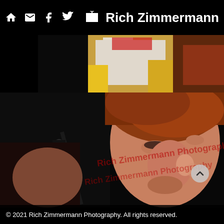Rich Zimmermann Photography — navigation bar with home, email, facebook, twitter icons
[Figure (photo): Partial photograph visible at top — colorful performer costume with yellow and white details against a light background]
[Figure (photo): Close-up concert photograph of a performer with reddish-auburn hair holding a microphone, dramatic dark background, watermarked with 'Rich Zimmermann Photography']
© 2021 Rich Zimmermann Photography. All rights reserved.